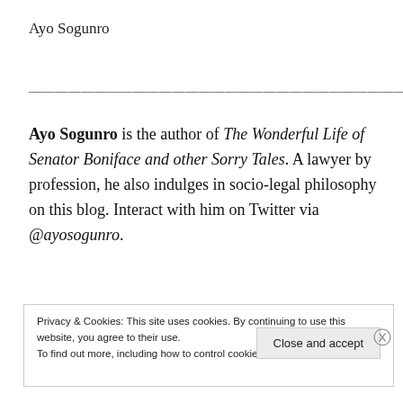Ayo Sogunro
——————————————————————————————————————————————
Ayo Sogunro is the author of The Wonderful Life of Senator Boniface and other Sorry Tales. A lawyer by profession, he also indulges in socio-legal philosophy on this blog. Interact with him on Twitter via @ayosogunro.
Privacy & Cookies: This site uses cookies. By continuing to use this website, you agree to their use.
To find out more, including how to control cookies, see here: Cookie Policy